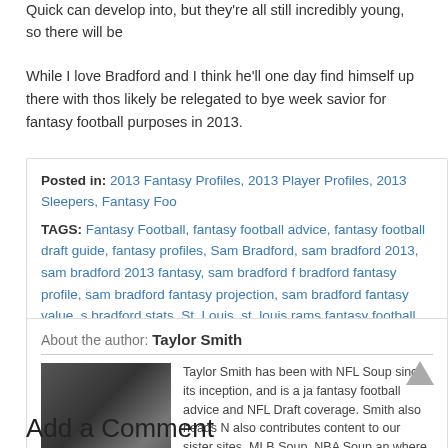Quick can develop into, but they're all still incredibly young, so there will be
While I love Bradford and I think he'll one day find himself up there with those likely be relegated to bye week savior for fantasy football purposes in 2013.
Posted in: 2013 Fantasy Profiles, 2013 Player Profiles, 2013 Sleepers, Fantasy Foo
TAGS: Fantasy Football, fantasy football advice, fantasy football draft guide, fantasy profiles, Sam Bradford, sam bradford 2013, sam bradford 2013 fantasy, sam bradford f bradford fantasy profile, sam bradford fantasy projection, sam bradford fantasy value, s bradford stats, St. Louis, st. louis rams fantasy football
About the author: Taylor Smith
Taylor Smith has been with NFL Soup since its inception, and is a ja fantasy football advice and NFL Draft coverage. Smith also heads N also contributes content to our sister sites, MLB Soup, NBA Soup an where he also is a writer for the L.A. Clippers. Follow him on Twitter
Add a Comment